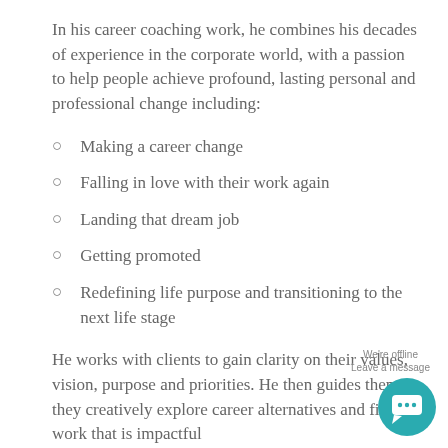In his career coaching work, he combines his decades of experience in the corporate world, with a passion to help people achieve profound, lasting personal and professional change including:
Making a career change
Falling in love with their work again
Landing that dream job
Getting promoted
Redefining life purpose and transitioning to the next life stage
He works with clients to gain clarity on their values, vision, purpose and priorities. He then guides them as they creatively explore career alternatives and find work that is impactful
[Figure (other): Teal circular chat widget with speech bubble icon and 'We're offline / Leave a message' text overlay]